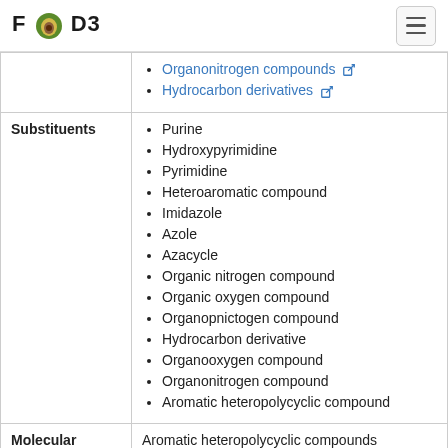FOODB
|  | Organonitrogen compounds, Hydrocarbon derivatives |
| Substituents | Purine, Hydroxypyrimidine, Pyrimidine, Heteroaromatic compound, Imidazole, Azole, Azacycle, Organic nitrogen compound, Organic oxygen compound, Organopnictogen compound, Hydrocarbon derivative, Organooxygen compound, Organonitrogen compound, Aromatic heteropolycyclic compound |
| Molecular Framework | Aromatic heteropolycyclic compounds |